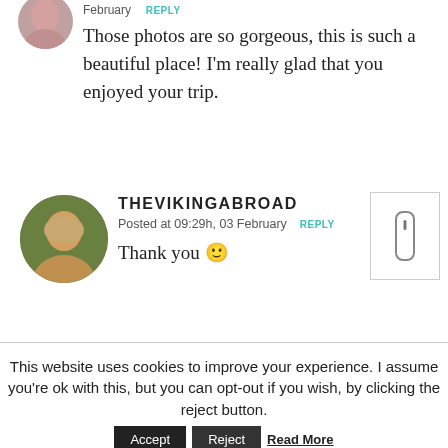[Figure (photo): Circular avatar photo of a person, partially cropped at top]
February  REPLY
Those photos are so gorgeous, this is such a beautiful place! I'm really glad that you enjoyed your trip.
[Figure (photo): Circular avatar photo of a woman with blonde hair smiling]
THEVIKINGABROAD
Posted at 09:29h, 03 February  REPLY
Thank you 🙂
[Figure (other): Scroll icon in a bordered box]
This website uses cookies to improve your experience. I assume you're ok with this, but you can opt-out if you wish, by clicking the reject button.
Accept   Reject   Read More